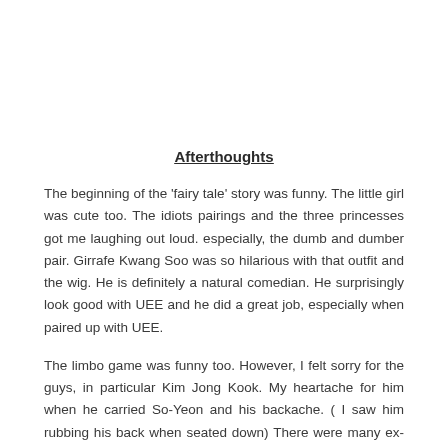Afterthoughts
The beginning of the 'fairy tale' story was funny. The little girl was cute too. The idiots pairings and the three princesses got me laughing out loud. especially, the dumb and dumber pair. Girrafe Kwang Soo was so hilarious with that outfit and the wig. He is definitely a natural comedian. He surprisingly look good with UEE and he did a great job, especially when paired up with UEE.
The limbo game was funny too. However, I felt sorry for the guys, in particular Kim Jong Kook. My heartache for him when he carried So-Yeon and his backache. ( I saw him rubbing his back when seated down) There were many ex-Monday couple moments and I like it.
After the pepero game, So-Yeon said that people with no